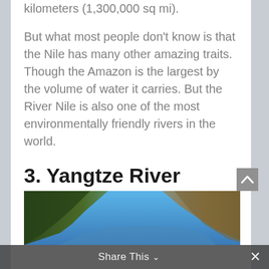kilometers (1,300,000 sq mi).
But what most people don't know is that the Nile has many other amazing traits. Though the Amazon is the largest by the volume of water it carries. But the River Nile is also one of the most environmentally friendly rivers in the world.
3. Yangtze River
[Figure (photo): Photograph of the Yangtze River with steep rocky cliffs on either side and blue sky above.]
Share This ∨  ×